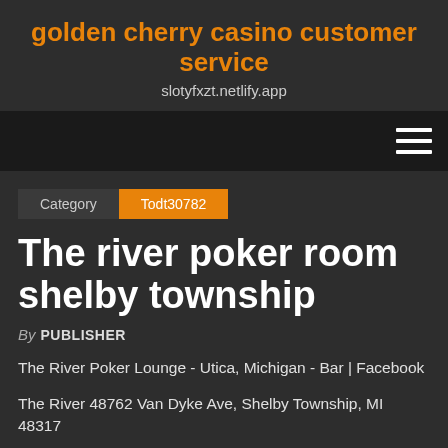golden cherry casino customer service
slotyfxzt.netlify.app
Category   Todt30782
The river poker room shelby township
By PUBLISHER
The River Poker Lounge - Utica, Michigan - Bar | Facebook
The River 48762 Van Dyke Ave, Shelby Township, MI 48317
Get reviews, hours, directions, coupons and more for The